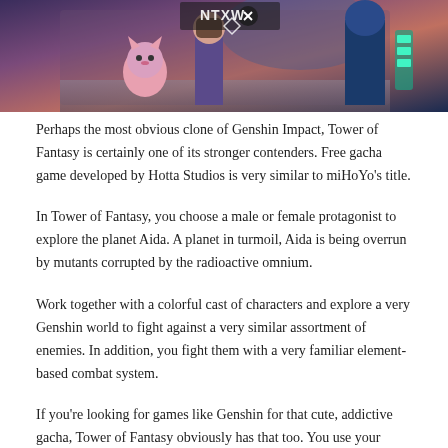[Figure (illustration): Banner image for Tower of Fantasy game showing anime-style characters including a pink cat-like character, a female character in purple outfit, and a blue robotic/humanoid character on the right. The game's logo partially visible at top.]
Perhaps the most obvious clone of Genshin Impact, Tower of Fantasy is certainly one of its stronger contenders. Free gacha game developed by Hotta Studios is very similar to miHoYo's title.
In Tower of Fantasy, you choose a male or female protagonist to explore the planet Aida. A planet in turmoil, Aida is being overrun by mutants corrupted by the radioactive omnium.
Work together with a colorful cast of characters and explore a very Genshin world to fight against a very similar assortment of enemies. In addition, you fight them with a very familiar element-based combat system.
If you're looking for games like Genshin for that cute, addictive gacha, Tower of Fantasy obviously has that too. You use your premium currency to summon simulacra, AI representations of heroes you can assume the